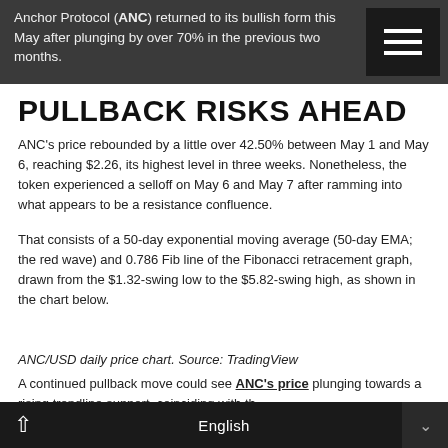Anchor Protocol (ANC) returned to its bullish form this May after plunging by over 70% in the previous two months.
PULLBACK RISKS AHEAD
ANC's price rebounded by a little over 42.50% between May 1 and May 6, reaching $2.26, its highest level in three weeks. Nonetheless, the token experienced a selloff on May 6 and May 7 after ramming into what appears to be a resistance confluence.
That consists of a 50-day exponential moving average (50-day EMA; the red wave) and 0.786 Fib line of the Fibonacci retracement graph, drawn from the $1.32-swing low to the $5.82-swing high, as shown in the chart below.
ANC/USD daily price chart. Source: TradingView
A continued pullback move could see ANC's price plunging towards a rising trendline support, coinciding with th...